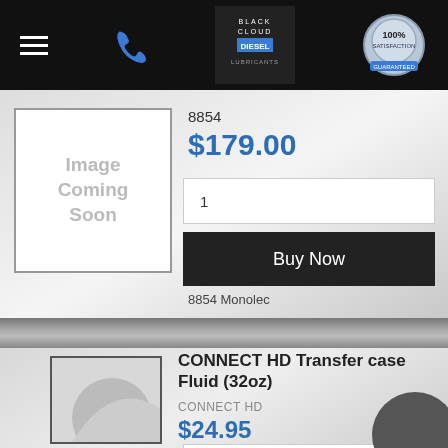[Figure (screenshot): Navigation bar with hamburger menu, phone icon, Black Cloud Diesel logo, and 100% satisfaction badge on black background]
8854
$179.00
1
Buy Now
8854 Monolec
CONNECT HD Transfer case Fluid (32oz)
CONNECT HD
$24.95
1